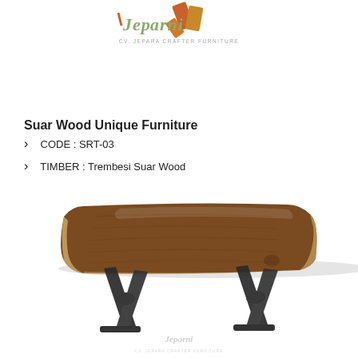[Figure (logo): Jepara Crafter Furniture logo with stylized text 'Jepara' and wood graphic, subtitle 'CV. JEPARA CRAFTER FURNITURE']
Suar Wood Unique Furniture
CODE : SRT-03
TIMBER : Trembesi Suar Wood
[Figure (photo): Wooden dining table with live edge suar/trembesi wood top and black X-shaped metal legs, with a small Jepara Crafter Furniture watermark logo in the center-bottom area]